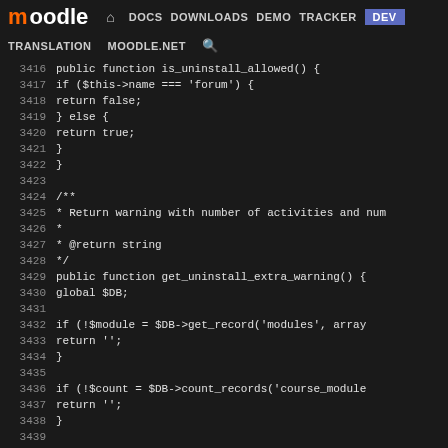[Figure (screenshot): Moodle developer documentation website header with navigation bar showing DOCS, DOWNLOADS, DEMO, TRACKER, DEV links and TRANSLATION, MOODLE.NET, search icon below.]
Code viewer showing PHP source lines 3416-3441 from a Moodle plugin file, including is_uninstall_allowed() and get_uninstall_extra_warning() methods.